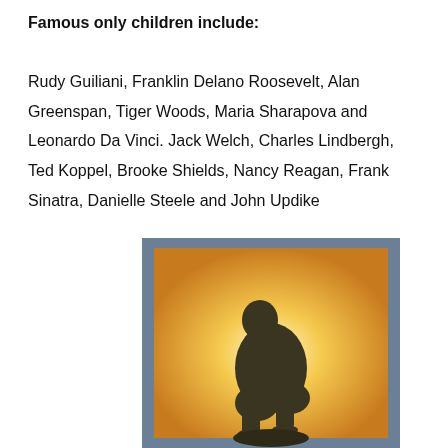Famous only children include:

Rudy Guiliani, Franklin Delano Roosevelt, Alan Greenspan, Tiger Woods, Maria Sharapova and Leonardo Da Vinci. Jack Welch, Charles Lindbergh, Ted Koppel, Brooke Shields, Nancy Reagan, Frank Sinatra, Danielle Steele and John Updike
[Figure (photo): The Thinker sculpture (Rodin) — a dark bronze figure of a seated man in contemplative pose with chin resting on fist, photographed against a warm yellow-orange to white gradient background, set within a steel-blue/gray rectangular frame.]